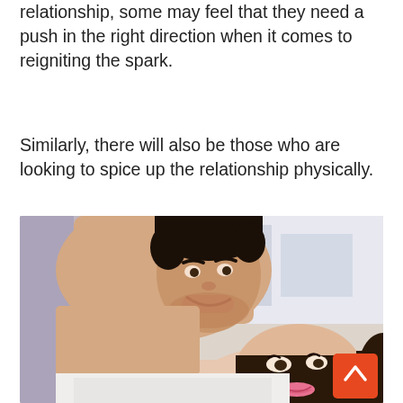relationship, some may feel that they need a push in the right direction when it comes to reigniting the spark.
Similarly, there will also be those who are looking to spice up the relationship physically.
[Figure (photo): A couple smiling at each other intimately, man with dark hair leaning over a woman with long brown hair, both appearing happy and close]